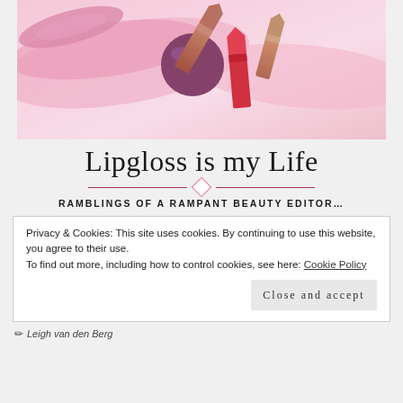[Figure (photo): Flat lay photo of lipsticks and lip gloss products in pink and rose tones on a white/pink background]
Lipgloss is my Life
RAMBLINGS OF A RAMPANT BEAUTY EDITOR…
Privacy & Cookies: This site uses cookies. By continuing to use this website, you agree to their use.
To find out more, including how to control cookies, see here: Cookie Policy
Close and accept
Leigh van den Berg